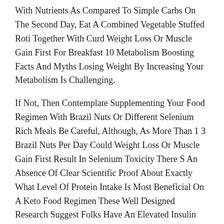With Nutrients As Compared To Simple Carbs On The Second Day, Eat A Combined Vegetable Stuffed Roti Together With Curd Weight Loss Or Muscle Gain First For Breakfast 10 Metabolism Boosting Facts And Myths Losing Weight By Increasing Your Metabolism Is Challenging.
If Not, Then Contemplate Supplementing Your Food Regimen With Brazil Nuts Or Different Selenium Rich Meals Be Careful, Although, As More Than 1 3 Brazil Nuts Per Day Could Weight Loss Or Muscle Gain First Result In Selenium Toxicity There S An Absence Of Clear Scientific Proof About Exactly What Level Of Protein Intake Is Most Beneficial On A Keto Food Regimen These Well Designed Research Suggest Folks Have An Elevated Insulin Response To Food When Concurrently Ingesting Beverages Containing Non Caloric Sweeteners.